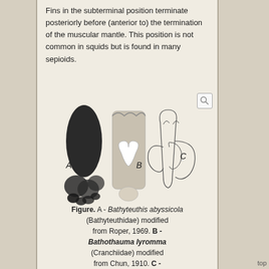Fins in the subterminal position terminate posteriorly before (anterior to) the termination of the muscular mantle. This position is not common in squids but is found in many sepioids.
[Figure (illustration): Scientific illustration showing three squid specimens labeled A, B, and C, demonstrating subterminal fin positions. A shows Bathyteuthis abyssicola (dark, solid), B shows Bathothauma lyromma (cross-section, grey), and C shows Euprymna stenodactyla (outline drawing).]
Figure. A - Bathyteuthis abyssicola (Bathyteuthidae) modified from Roper, 1969. B - Bathothauma lyromma (Cranchiidae) modified from Chun, 1910. C - Euprymna stenodactyla (Sepiolidae) modified